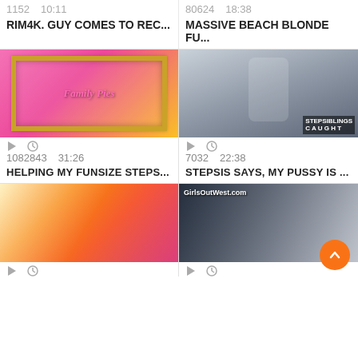1152   10:11
80624   18:38
RIM4K. GUY COMES TO REC...
MASSIVE BEACH BLONDE FU...
[Figure (photo): Family Pies branded video thumbnail with gold frame on pink background]
[Figure (photo): StepSiblings Caught branded video thumbnail showing young man on bed]
1082843   31:26
7032   22:38
HELPING MY FUNSIZE STEPS...
STEPSIS SAYS, MY PUSSY IS ...
[Figure (photo): Blonde woman in fishnet stockings video thumbnail]
[Figure (photo): GirlsOutWest.com branded video thumbnail showing two people on floor]